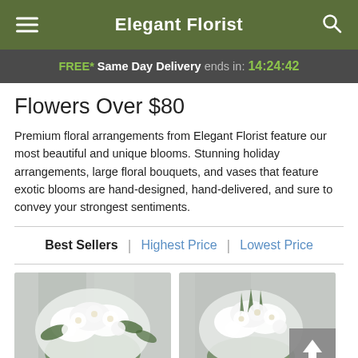Elegant Florist
FREE* Same Day Delivery ends in: 14:24:42
Flowers Over $80
Premium floral arrangements from Elegant Florist feature our most beautiful and unique blooms. Stunning holiday arrangements, large floral bouquets, and vases that feature exotic blooms are hand-designed, hand-delivered, and sure to convey your strongest sentiments.
Best Sellers | Highest Price | Lowest Price
[Figure (photo): White floral arrangement with lilies and carnations in a standing bouquet]
[Figure (photo): White floral arrangement with lilies and greenery, partially visible with scroll-to-top button overlay]